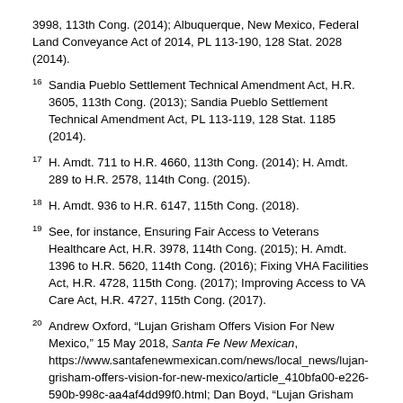3998, 113th Cong. (2014); Albuquerque, New Mexico, Federal Land Conveyance Act of 2014, PL 113-190, 128 Stat. 2028 (2014).
16 Sandia Pueblo Settlement Technical Amendment Act, H.R. 3605, 113th Cong. (2013); Sandia Pueblo Settlement Technical Amendment Act, PL 113-119, 128 Stat. 1185 (2014).
17 H. Amdt. 711 to H.R. 4660, 113th Cong. (2014); H. Amdt. 289 to H.R. 2578, 114th Cong. (2015).
18 H. Amdt. 936 to H.R. 6147, 115th Cong. (2018).
19 See, for instance, Ensuring Fair Access to Veterans Healthcare Act, H.R. 3978, 114th Cong. (2015); H. Amdt. 1396 to H.R. 5620, 114th Cong. (2016); Fixing VHA Facilities Act, H.R. 4728, 115th Cong. (2017); Improving Access to VA Care Act, H.R. 4727, 115th Cong. (2017).
20 Andrew Oxford, “Lujan Grisham Offers Vision For New Mexico,” 15 May 2018, Santa Fe New Mexican, https://www.santafenewmexican.com/news/local_news/lujan-grisham-offers-vision-for-new-mexico/article_410bfa00-e226-590b-998c-aa4af4dd99f0.html; Dan Boyd, “Lujan Grisham Running for Governor,” 14 December 2016, Albuquerque Journal: A1.